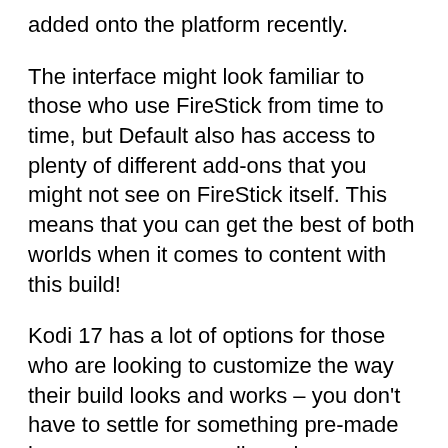added onto the platform recently.
The interface might look familiar to those who use FireStick from time to time, but Default also has access to plenty of different add-ons that you might not see on FireStick itself. This means that you can get the best of both worlds when it comes to content with this build!
Kodi 17 has a lot of options for those who are looking to customize the way their build looks and works – you don't have to settle for something pre-made because you can easily make your own modifications!
For example, if there's an option available for a skin, but it isn't what you want then you can always create your own one instead! It gives users quite a bit more freedom than other builds around today.